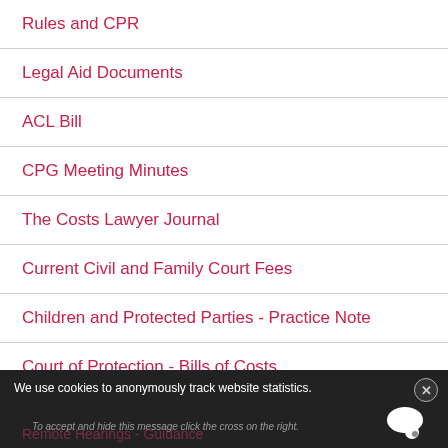Rules and CPR
Legal Aid Documents
ACL Bill
CPG Meeting Minutes
The Costs Lawyer Journal
Current Civil and Family Court Fees
Children and Protected Parties - Practice Note
Court of Protection - Bills of Costs
We use cookies to anonymously track website statistics. To accept and hide this message click the cross on the right.
Remote Hearings - Guidance